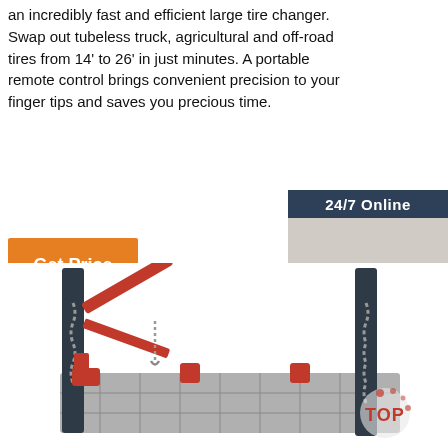an incredibly fast and efficient large tire changer. Swap out tubeless truck, agricultural and off-road tires from 14' to 26' in just minutes. A portable remote control brings convenient precision to your finger tips and saves you precious time.
Get Price
[Figure (photo): Customer service representative with headset, smiling, with '24/7 Online' header, 'Click here for free chat!' text, and 'QUOTATION' orange button on dark blue sidebar]
[Figure (photo): Large industrial tire changer machine with red mechanical arms, chains, and mounting platform, shown from an angle]